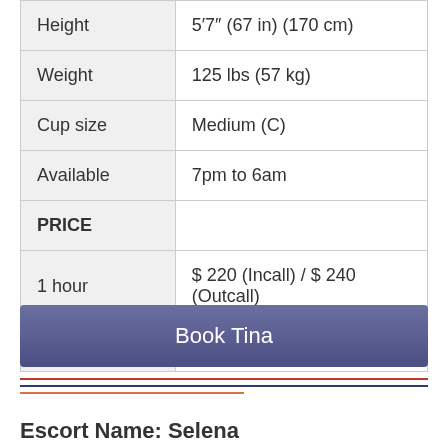| Height | 5′7″ (67 in) (170 cm) |
| Weight | 125 lbs (57 kg) |
| Cup size | Medium (C) |
| Available | 7pm to 6am |
| PRICE |  |
| 1 hour | $ 220 (Incall) / $ 240 (Outcall) |
| Departure: | Oakes, () |
Book Tina
Escort Name: Selena